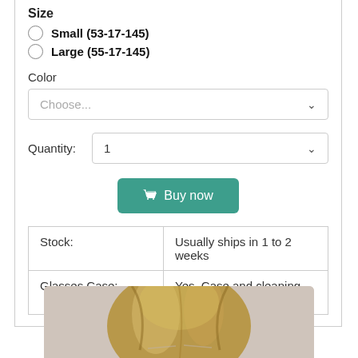Small (53-17-145)
Large (55-17-145)
Color
Choose...
Quantity:
1
Buy now
| Stock: | Usually ships in 1 to 2 weeks |
| --- | --- |
| Glasses Case: | Yes. Case and cleaning cloth |
[Figure (photo): Top portion of a woman's head with blonde/brown hair, likely modeling eyeglasses, shown from forehead up on a light background]